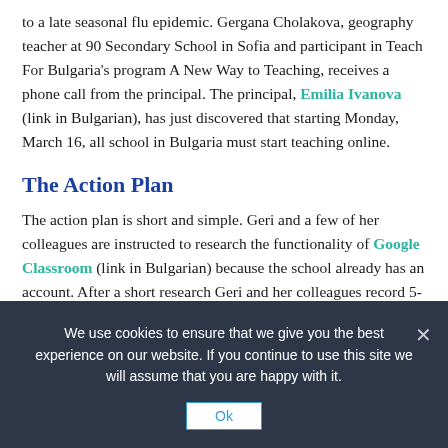to a late seasonal flu epidemic. Gergana Cholakova, geography teacher at 90 Secondary School in Sofia and participant in Teach For Bulgaria's program A New Way to Teaching, receives a phone call from the principal. The principal, Emilia Ivanova (link in Bulgarian), has just discovered that starting Monday, March 16, all school in Bulgaria must start teaching online.
The Action Plan
The action plan is short and simple. Geri and a few of her colleagues are instructed to research the functionality of Google Classroom (link in Bulgarian) because the school already has an account. After a short research Geri and her colleagues record 5-minute videos with instructions for the entire school staff. They organize a Saturday
We use cookies to ensure that we give you the best experience on our website. If you continue to use this site we will assume that you are happy with it.